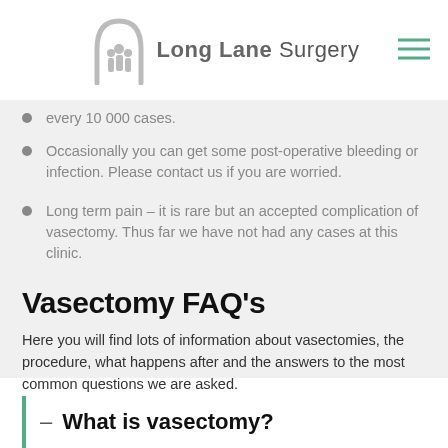Long Lane Surgery
every 10 000 cases.
Occasionally you can get some post-operative bleeding or infection. Please contact us if you are worried.
Long term pain – it is rare but an accepted complication of vasectomy. Thus far we have not had any cases at this clinic.
Vasectomy FAQ's
Here you will find lots of information about vasectomies, the procedure, what happens after and the answers to the most common questions we are asked.
– What is vasectomy?